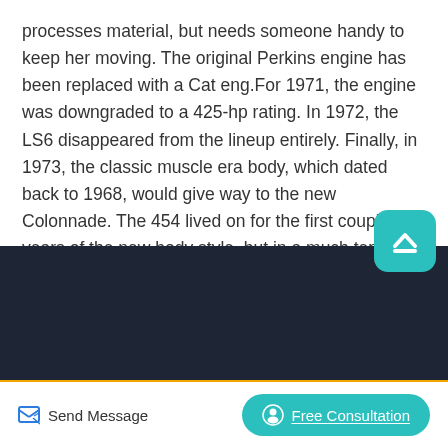processes material, but needs someone handy to keep her moving. The original Perkins engine has been replaced with a Cat eng.For 1971, the engine was downgraded to a 425-hp rating. In 1972, the LS6 disappeared from the lineup entirely. Finally, in 1973, the classic muscle era body, which dated back to 1968, would give way to the new Colonnade. The 454 lived on for the first couple years of the new body style, but in a much tepid form.
[Figure (screenshot): Dark banner section with a white person/avatar icon in a circle, and text 'We Are Committed To Creating The Most Suitable Solution For You.' in white on dark background]
Send Message
Free Consultation